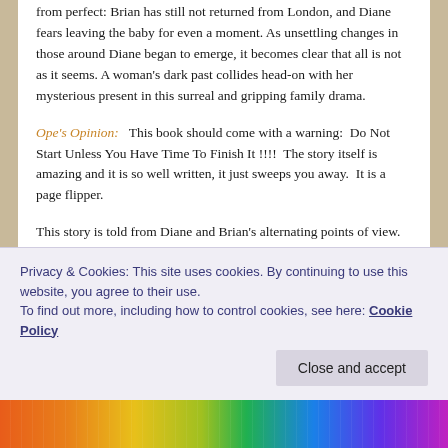from perfect: Brian has still not returned from London, and Diane fears leaving the baby for even a moment. As unsettling changes in those around Diane began to emerge, it becomes clear that all is not as it seems. A woman's dark past collides head-on with her mysterious present in this surreal and gripping family drama.
Ope's Opinion:   This book should come with a warning:  Do Not Start Unless You Have Time To Finish It !!!!  The story itself is amazing and it is so well written, it just sweeps you away.  It is a page flipper.
This story is told from Diane and Brian's alternating points of view. The pieces of the story are slowly revealed from
Privacy & Cookies: This site uses cookies. By continuing to use this website, you agree to their use.
To find out more, including how to control cookies, see here: Cookie Policy